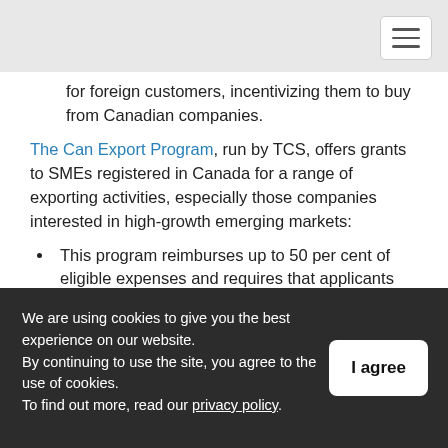[Navigation bar with hamburger menu]
for foreign customers, incentivizing them to buy from Canadian companies.
The Can Export Program, run by TCS, offers grants to SMEs registered in Canada for a range of exporting activities, especially those companies interested in high-growth emerging markets:
This program reimburses up to 50 per cent of eligible expenses and requires that applicants match funds on a one-to-one basis.
The minimum matching contribution is $10,000,
We are using cookies to give you the best experience on our website.
By continuing to use the site, you agree to the use of cookies.
To find out more, read our privacy policy.